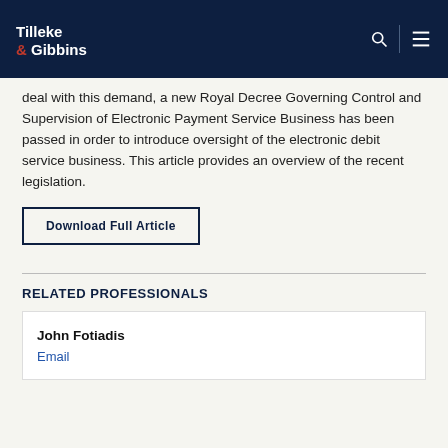Tilleke & Gibbins
deal with this demand, a new Royal Decree Governing Control and Supervision of Electronic Payment Service Business has been passed in order to introduce oversight of the electronic debit service business. This article provides an overview of the recent legislation.
Download Full Article
RELATED PROFESSIONALS
John Fotiadis
Email